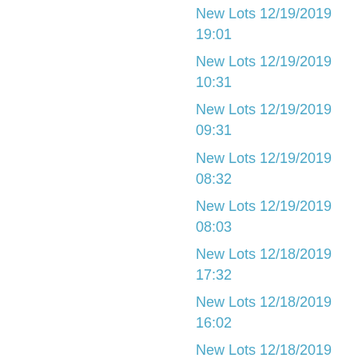New Lots 12/19/2019 19:01
New Lots 12/19/2019 10:31
New Lots 12/19/2019 09:31
New Lots 12/19/2019 08:32
New Lots 12/19/2019 08:03
New Lots 12/18/2019 17:32
New Lots 12/18/2019 16:02
New Lots 12/18/2019 15:32
New Lots 12/18/2019 11:31
New Lots 12/18/2019 09:02
New Lots 12/18/2019 08:34
New Lots 12/17/2019 14:01
New Lots 12/17/2019 12:31
New Lots 12/17/2019 11:01
New Lots 12/17/2019 09:31
New Lots 12/17/2019 08:33
New Lots 12/16/2019 18:32
New Lots 12/16/2019 13:32
New Lots 12/16/2019 10:32
New Lots 12/16/2019 08:32